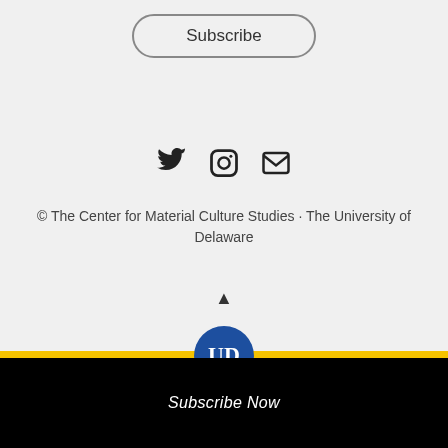Subscribe
[Figure (illustration): Social media icons row: Twitter bird icon, Instagram camera icon, email envelope icon]
© The Center for Material Culture Studies · The University of Delaware
[Figure (illustration): Up arrow triangle icon for back-to-top]
[Figure (logo): University of Delaware circular logo with UD letters in blue and white]
Subscribe Now